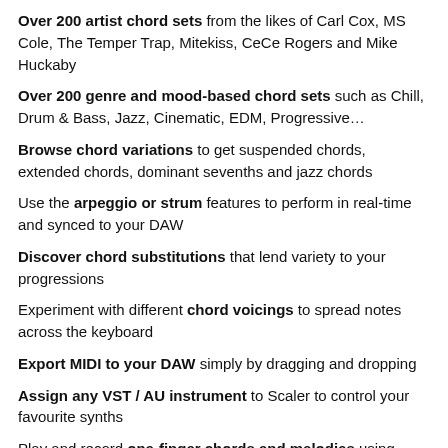Over 200 artist chord sets from the likes of Carl Cox, MS Cole, The Temper Trap, Mitekiss, CeCe Rogers and Mike Huckaby
Over 200 genre and mood-based chord sets such as Chill, Drum & Bass, Jazz, Cinematic, EDM, Progressive…
Browse chord variations to get suspended chords, extended chords, dominant sevenths and jazz chords
Use the arpeggio or strum features to perform in real-time and synced to your DAW
Discover chord substitutions that lend variety to your progressions
Experiment with different chord voicings to spread notes across the keyboard
Export MIDI to your DAW simply by dragging and dropping
Assign any VST / AU instrument to Scaler to control your favourite synths
Play and record one-finger chords and melodies using Scaler's Bind MIDI function
New for Version 2
Redesigned from the ground up with over 200 new chord sets, hundreds of new chords and 30 new instruments…